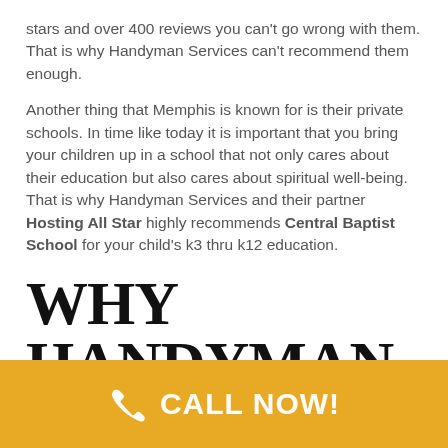stars and over 400 reviews you can't go wrong with them. That is why Handyman Services can't recommend them enough.
Another thing that Memphis is known for is their private schools. In time like today it is important that you bring your children up in a school that not only cares about their education but also cares about spiritual well-being. That is why Handyman Services and their partner Hosting All Star highly recommends Central Baptist School for your child's k3 thru k12 education.
WHY HANDYMAN SERVICES CHOOSES 901
[Figure (infographic): Golden/amber colored call-to-action bar with a white phone icon and bold white text reading CALL NOW!]